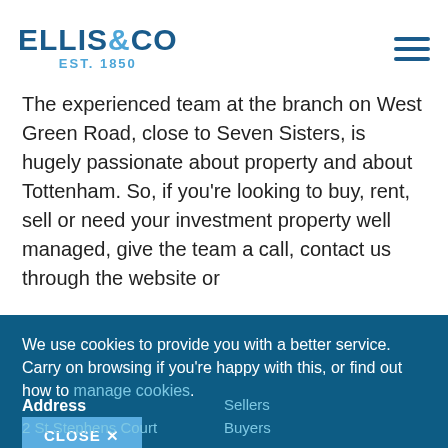ELLIS&CO EST. 1850
The experienced team at the branch on West Green Road, close to Seven Sisters, is hugely passionate about property and about Tottenham. So, if you're looking to buy, rent, sell or need your investment property well managed, give the team a call, contact us through the website or
We use cookies to provide you with a better service. Carry on browsing if you're happy with this, or find out how to manage cookies.
CLOSE ✕
Address
2 St Stephens Court
Sellers
Buyers